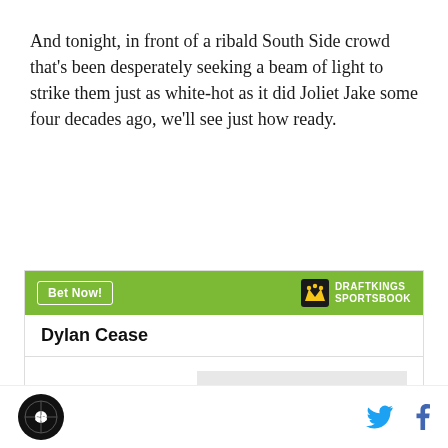And tonight, in front of a ribald South Side crowd that's been desperately seeking a beam of light to strike them just as white-hot as it did Joliet Jake some four decades ago, we'll see just how ready.
[Figure (infographic): DraftKings Sportsbook betting widget showing Dylan Cease with odds +750 to win AL Cy Young]
SB Nation podcast logo icon, Twitter and Facebook social media icons